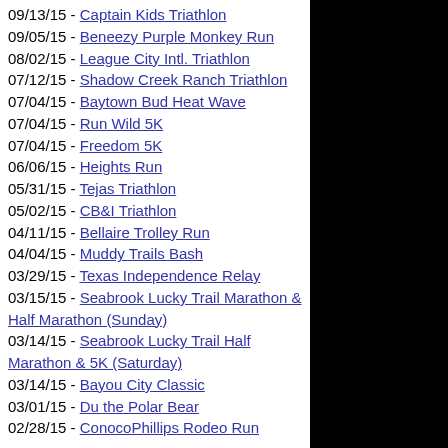09/13/15 - Captain Kids Triathlon
09/05/15 - Beneezy Purple Monkey Run
08/02/15 - League City Intl. Triathlon
07/12/15 - Shadow Creek Ranch Triathlon
07/04/15 - Baytown Bud Heat Wave
07/04/15 - Run Wild 5K
07/04/15 - Freedom 5K
06/06/15 - Heights Run
05/31/15 - Tejas Triathlon
05/02/15 - CB&I Triathlon
04/11/15 - Bellaire Trolley Run
04/04/15 - Muddy Trails Bash
03/29/15 - Texas Independence Relay
03/15/15 - Seabrook Lucky Trail Marathon & Half Marathon (Sunday)
03/14/15 - Seabrook Lucky Trail Half Marathon & 5K (Saturday)
03/14/15 - Bayou City Classic
03/01/15 - Du the Polar Bear
02/28/15 - ConocoPhillips Rodeo Run
2014
12/20/14 - Houston's 12K of Christmas
12/13/14 - Yes Prep College Rush 10K/5K
11/27/14 - GE Run thru the Woods
11/27/14 - Sugar Land Turkey Trot
11/23/14 - Holiday Half Marathon
11/16/14 - La Porte by the Bay Half Marathon